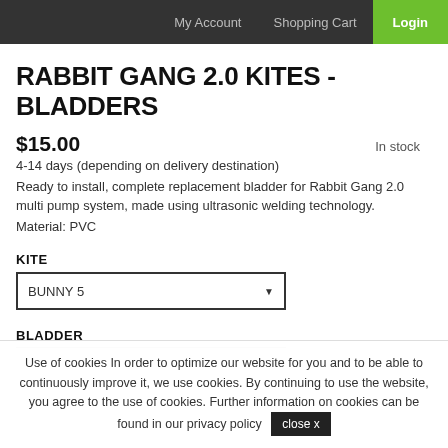My Account   Shopping Cart   Login
RABBIT GANG 2.0 KITES - BLADDERS
$15.00   In stock
4-14 days (depending on delivery destination)
Ready to install, complete replacement bladder for Rabbit Gang 2.0 multi pump system, made using ultrasonic welding technology.
Material: PVC
KITE
BUNNY 5
BLADDER
Use of cookies In order to optimize our website for you and to be able to continuously improve it, we use cookies. By continuing to use the website, you agree to the use of cookies. Further information on cookies can be found in our privacy policy   close x